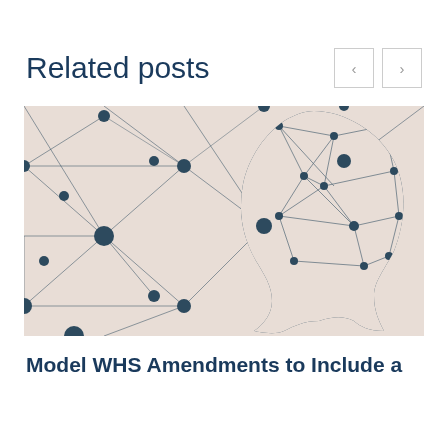Related posts
[Figure (illustration): Silhouette of a human head profile facing right with a network/neural graph pattern visible inside the brain area. The background shows a beige/tan geometric network of connected nodes and lines.]
Model WHS Amendments to Include a